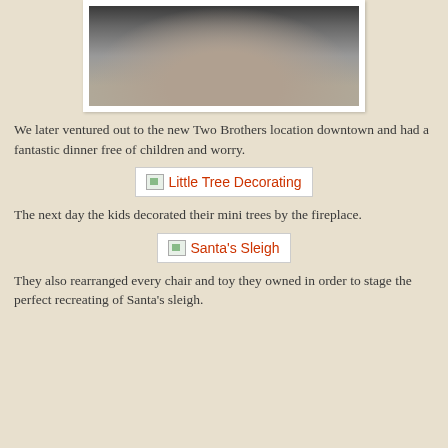[Figure (photo): Close-up photo of what appears to be a nail polish bottle or similar object on a textured surface]
We later ventured out to the new Two Brothers location downtown and had a fantastic dinner free of children and worry.
[Figure (other): Image link placeholder labeled 'Little Tree Decorating']
The next day the kids decorated their mini trees by the fireplace.
[Figure (other): Image link placeholder labeled 'Santa's Sleigh']
They also rearranged every chair and toy they owned in order to stage the perfect recreating of Santa's sleigh.